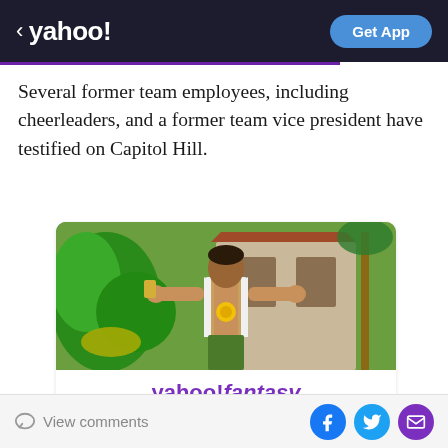< yahoo! | Get App
Several former team employees, including cheerleaders, and a former team vice president have testified on Capitol Hill.
[Figure (illustration): Yahoo! Fantasy advertisement showing a man in a white shirt with arms spread outdoors, with yahoo!fantasy branding and text 'Play fantasy football Get your people on the free and easy fantasy app' and an orange call-to-action button]
View comments | Facebook share | Twitter share | Email share